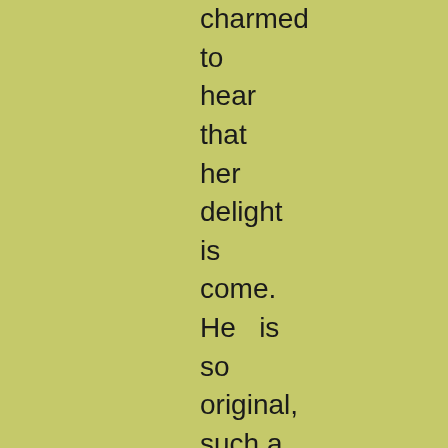charmed to hear that her delight is come. He  is so original, such a stolid creature, such an immense being for